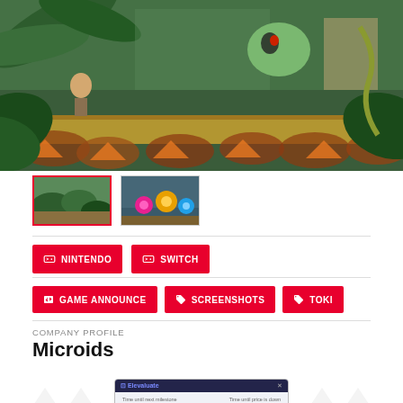[Figure (screenshot): Main screenshot of a jungle-themed video game (Toki) showing animated characters in a lush tropical environment with platforms and colorful enemies]
[Figure (screenshot): Thumbnail 1: active/selected – close-up jungle game scene with plants]
[Figure (screenshot): Thumbnail 2: game scene with colorful round enemies/characters on platforms]
NINTENDO
SWITCH
GAME ANNOUNCE
SCREENSHOTS
TOKI
COMPANY PROFILE
Microids
[Figure (screenshot): Promotional countdown timer card/widget with dark header showing 'Elevaluate' branding and two countdown timers with days/hours/minutes]